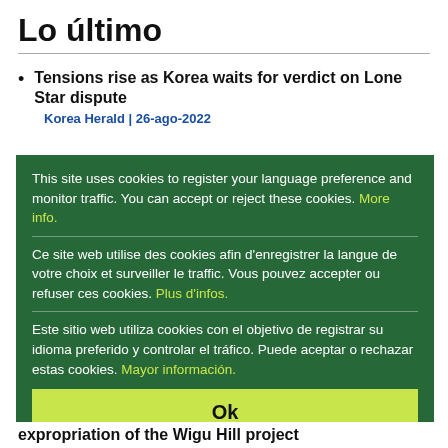Lo último
Tensions rise as Korea waits for verdict on Lone Star dispute
Korea Herald | 26-ago-2022
This site uses cookies to register your language preference and monitor traffic. You can accept or reject these cookies. More info.

Ce site web utilise des cookies afin d'enregistrer la langue de votre choix et surveiller le traffic. Vous pouvez accepter ou refuser ces cookies. Plus d'infos.

Este sitio web utiliza cookies con el objetivo de registrar su idioma preferido y controlar el tráfico. Puede aceptar o rechazar estas cookies. Mayor información.

Ok
expropriation of the Wigu Hill project